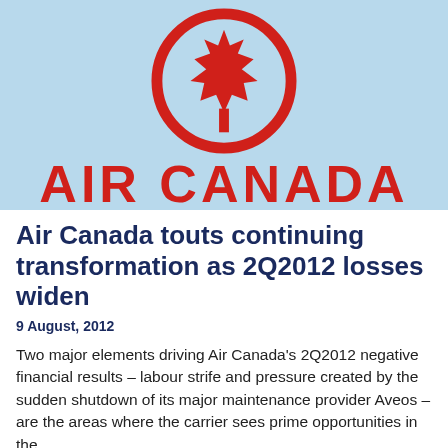[Figure (logo): Air Canada logo: red maple leaf inside a red circle on a light blue background, with red bold text 'AIR CANADA' below the emblem]
Air Canada touts continuing transformation as 2Q2012 losses widen
9 August, 2012
Two major elements driving Air Canada's 2Q2012 negative financial results – labour strife and pressure created by the sudden shutdown of its major maintenance provider Aveos – are the areas where the carrier sees prime opportunities in the